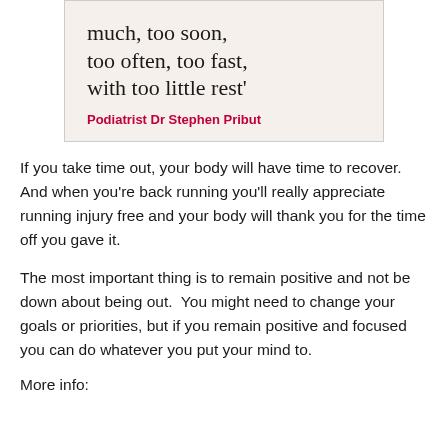[Figure (photo): A quote box with beige/cream background showing text: 'much, too soon, too often, too fast, with too little rest' attributed to Podiatrist Dr Stephen Pribut in red bold text]
If you take time out, your body will have time to recover. And when you're back running you'll really appreciate running injury free and your body will thank you for the time off you gave it.
The most important thing is to remain positive and not be down about being out. You might need to change your goals or priorities, but if you remain positive and focused you can do whatever you put your mind to.
More info: